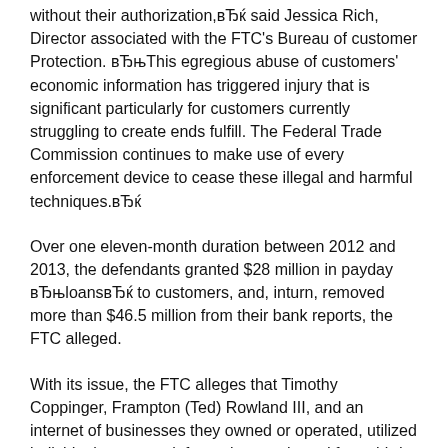without their authorization,вЂќ said Jessica Rich, Director associated with the FTC's Bureau of customer Protection. вЂњThis egregious abuse of customers' economic information has triggered injury that is significant particularly for customers currently struggling to create ends fulfill. The Federal Trade Commission continues to make use of every enforcement device to cease these illegal and harmful techniques.вЂќ
Over one eleven-month duration between 2012 and 2013, the defendants granted $28 million in payday вЂњloansвЂќ to customers, and, inturn, removed more than $46.5 million from their bank reports, the FTC alleged.
With its issue, the FTC alleges that Timothy Coppinger, Frampton (Ted) Rowland III, and an internet of businesses they owned or operated, utilized individual monetary information purchased from third-party lead generators or information agents to create unauthorized build up of between $200 and $300 into customers' bank reports.